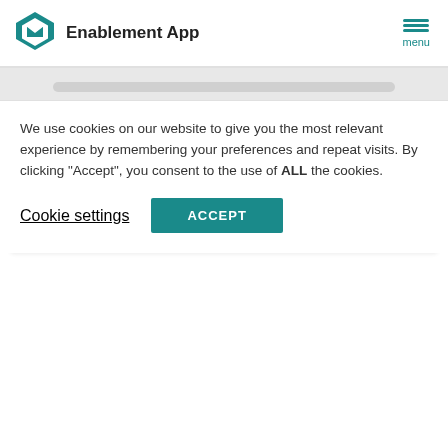Enablement App
2021.05.27
□□□□□□□□□□□□□□□□□□□□
□□□□□□□□□□□□□□□□□□□□□□□□□□DX□□□□□□□□□□□□□□□□□□□□□□□□□□□□□□□□□□□□□□□□□□□□□□□□□□□□□□□□□□□□□□□□
We use cookies on our website to give you the most relevant experience by remembering your preferences and repeat visits. By clicking "Accept", you consent to the use of ALL the cookies.
Cookie settings
ACCEPT